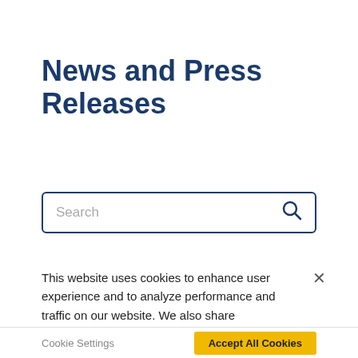News and Press Releases
Search
This website uses cookies to enhance user experience and to analyze performance and traffic on our website. We also share information about your use of our site with our social media, advertising and analytics partners. Privacy Statement